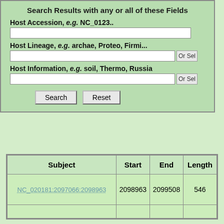Search Results with any or all of these Fields
Host Accession, e.g. NC_0123..
Host Lineage, e.g. archae, Proteo, Firmi...
Host Information, e.g. soil, Thermo, Russia
| Subject | Start | End | Length |
| --- | --- | --- | --- |
| NC_020181:2097066:2098963 | 2098963 | 2099508 | 546 |